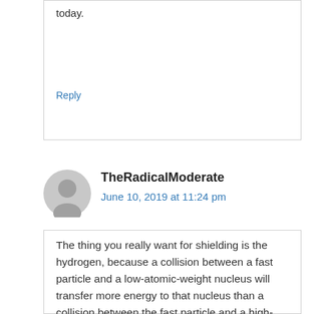today.
Reply
TheRadicalModerate
June 10, 2019 at 11:24 pm
The thing you really want for shielding is the hydrogen, because a collision between a fast particle and a low-atomic-weight nucleus will transfer more energy to that nucleus than a collision between the fast particle and a high-atomic-weight